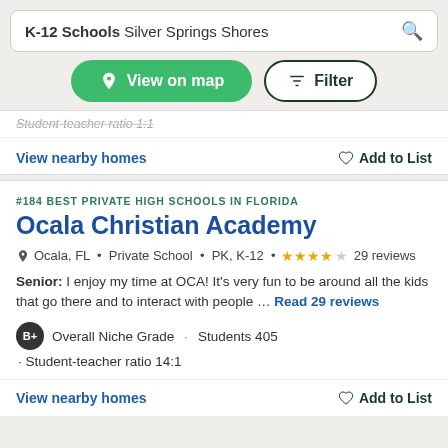K-12 Schools Silver Springs Shores
View on map
Filter
Student-teacher ratio 1:1 (truncated/partial)
View nearby homes
Add to List
#184 BEST PRIVATE HIGH SCHOOLS IN FLORIDA
Ocala Christian Academy
Ocala, FL • Private School • PK, K-12 • ★★★★☆ 29 reviews
Senior: I enjoy my time at OCA! It's very fun to be around all the kids that go there and to interact with people ... Read 29 reviews
B+ Overall Niche Grade · Students 405
· Student-teacher ratio 14:1
View nearby homes
Add to List